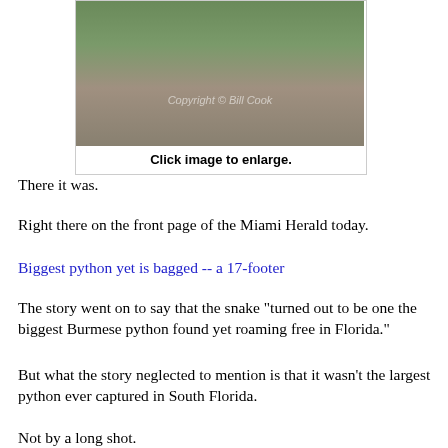[Figure (photo): Several people holding a large Burmese python stretched across their shoulders outdoors. Copyright watermark for Bill Cook visible.]
Click image to enlarge.
There it was.
Right there on the front page of the Miami Herald today.
Biggest python yet is bagged -- a 17-footer
The story went on to say that the snake "turned out to be one the biggest Burmese python found yet roaming free in Florida."
But what the story neglected to mention is that it wasn't the largest python ever captured in South Florida.
Not by a long shot.